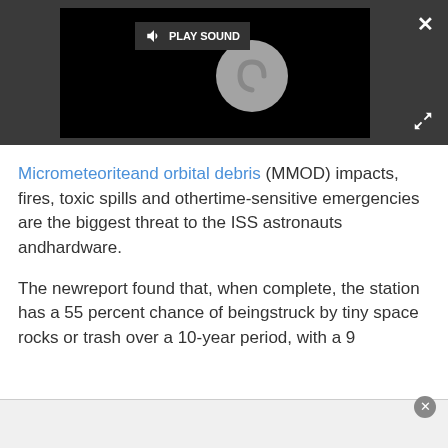[Figure (screenshot): Video player overlay on dark gray background with black video area showing a spinning/loading circle icon. A 'PLAY SOUND' button with speaker icon is visible at top. An X close button is at top right. An expand arrows icon is at bottom right of the dark overlay.]
Micrometeoriteand orbital debris (MMOD) impacts, fires, toxic spills and othertime-sensitive emergencies are the biggest threat to the ISS astronauts andhardware.
The newreport found that, when complete, the station has a 55 percent chance of beingstruck by tiny space rocks or trash over a 10-year period, with a 9 percent chance of a catastrophic strike